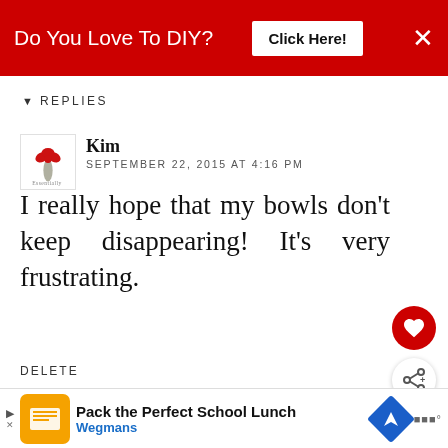[Figure (infographic): Red banner advertisement: 'Do You Love To DIY?' with 'Click Here!' button and X close button]
REPLIES
[Figure (logo): Small flower/plant logo avatar for user Kim]
Kim
SEPTEMBER 22, 2015 AT 4:16 PM
I really hope that my bowls don’t keep disappearing! It’s very frustrating.
DELETE
REPLY
WHAT’S NEXT → Springtime Tea For Two
Anonymous
[Figure (infographic): Bottom banner ad: Pack the Perfect School Lunch - Wegmans]
[Figure (photo): Circular thumbnail photo for Springtime Tea For Two article]